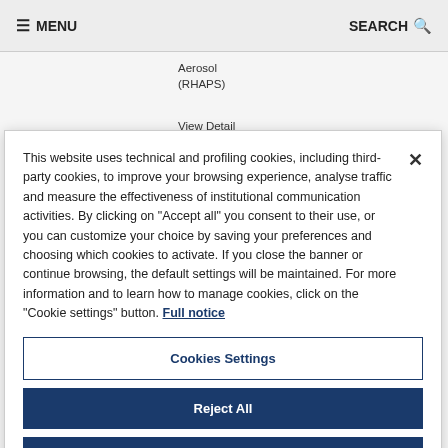≡ MENU   SEARCH 🔍
Aerosol (RHAPS)
View Detail
This website uses technical and profiling cookies, including third-party cookies, to improve your browsing experience, analyse traffic and measure the effectiveness of institutional communication activities. By clicking on "Accept all" you consent to their use, or you can customize your choice by saving your preferences and choosing which cookies to activate. If you close the banner or continue browsing, the default settings will be maintained. For more information and to learn how to manage cookies, click on the "Cookie settings" button. Full notice
Cookies Settings
Reject All